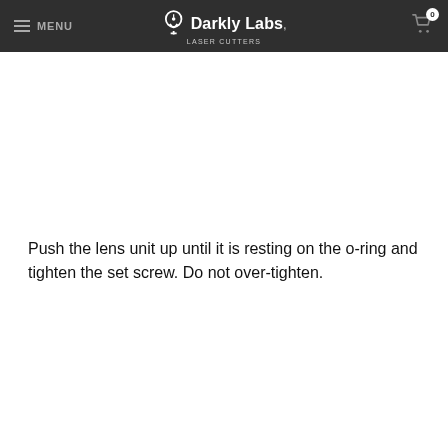MENU | Darkly Labs LASER CUTTERS | 0
Push the lens unit up until it is resting on the o-ring and tighten the set screw. Do not over-tighten.